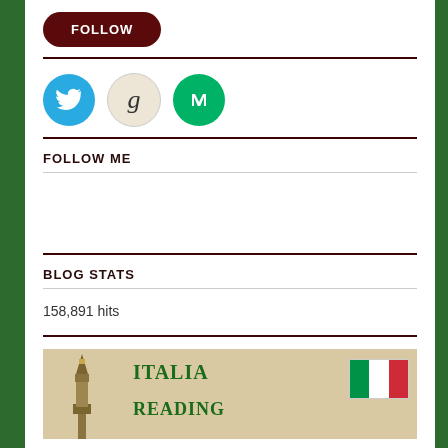[Figure (other): Dark red pill-shaped FOLLOW button]
[Figure (other): Three social media icons: Twitter (blue bird), Goodreads (g on beige), Medium (M on green)]
FOLLOW ME
BLOG STATS
158,891 hits
[Figure (other): Italia Reading banner with tower illustration and Italian flag, text reads ITALIA READING]